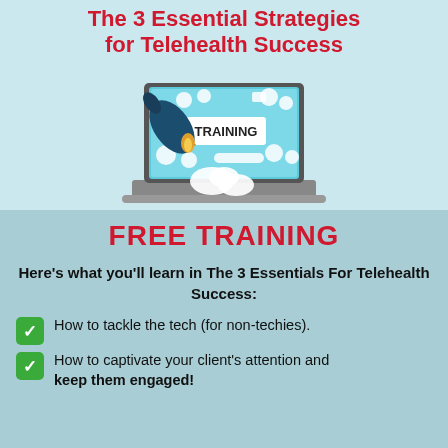The 3 Essential Strategies for Telehealth Success
[Figure (illustration): Laptop computer with rocket launching out of screen, icons floating around representing online training tools, with 'TRAINING' text visible on screen]
FREE TRAINING
Here's what you'll learn in The 3 Essentials For Telehealth Success:
How to tackle the tech (for non-techies).
How to captivate your client's attention and keep them engaged!